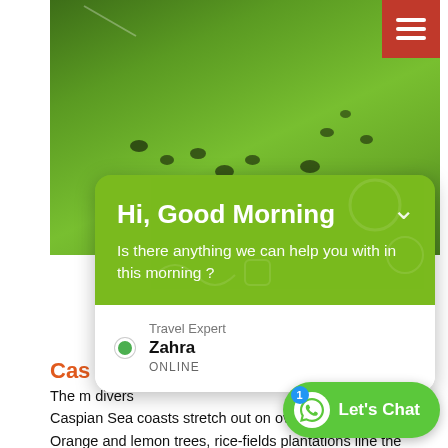[Figure (photo): Aerial view of a green grassy field with dark animals (possibly buffalo or cattle) scattered across it, seen from above. A sprinkler or water spray is visible at the top left.]
[Figure (screenshot): Chat popup widget overlay with olive/lime green header reading 'Hi, Good Morning' and subtitle 'Is there anything we can help you with in this morning ?' with a chevron on the right. Below is a white area showing Travel Expert Zahra ONLINE with a green dot indicator.]
Cas
The m divers Caspian Sea coasts stretch out on over 372 miles. Orange and lemon trees, rice-fields plantations line the coast, which is fl mangroves and marshes.
[Figure (screenshot): WhatsApp-style 'Let's Chat' green pill button in the bottom right with a badge showing '1'.]